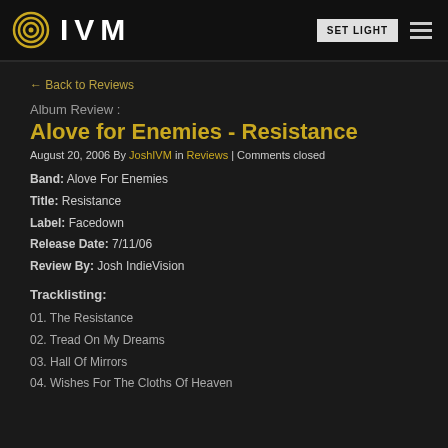IVM | SET LIGHT | menu
← Back to Reviews
Album Review :
Alove for Enemies - Resistance
August 20, 2006 By JoshIVM in Reviews | Comments closed
Band: Alove For Enemies
Title: Resistance
Label: Facedown
Release Date: 7/11/06
Review By: Josh IndieVision
Tracklisting:
01. The Resistance
02. Tread On My Dreams
03. Hall Of Mirrors
04. Wishes For The Cloths Of Heaven